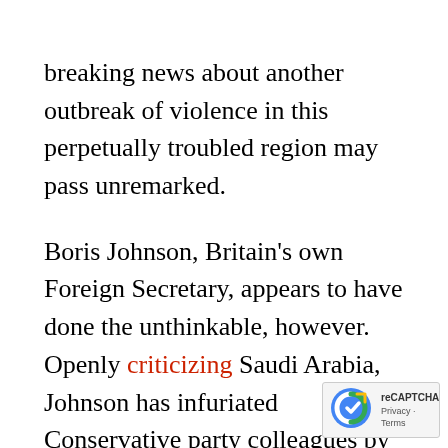breaking news about another outbreak of violence in this perpetually troubled region may pass unremarked.
Boris Johnson, Britain's own Foreign Secretary, appears to have done the unthinkable, however. Openly criticizing Saudi Arabia, Johnson has infuriated Conservative party colleagues by claiming that the UK's main ally in the region is engaging in proxy wars, apparently with little regard for the well-being of the local population. Johnson has thus inadvertently singled out a prime issue in British foreign policy, one that has seen the UK habitually endorse a power kn… for both human rights abuses at home  and